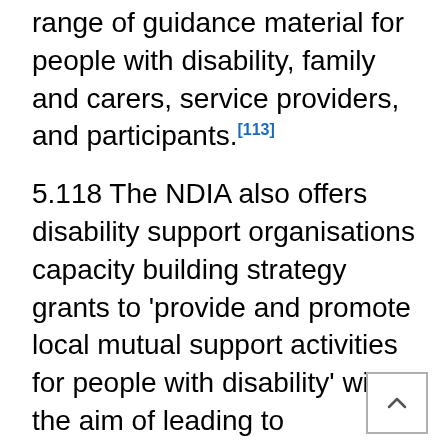range of guidance material for people with disability, family and carers, service providers, and participants.[113]
5.118 The NDIA also offers disability support organisations capacity building strategy grants to 'provide and promote local mutual support activities for people with disability' with the aim of leading to 'increased capacity of people with disability and their families to exercise choice and control, engage with the NDIS and other community supports as well as